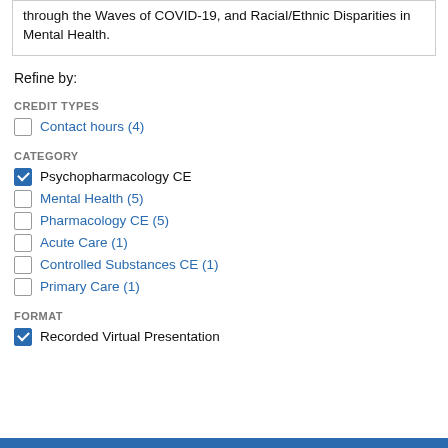through the Waves of COVID-19, and Racial/Ethnic Disparities in Mental Health.
Refine by:
CREDIT TYPES
Contact hours (4)
CATEGORY
Psychopharmacology CE
Mental Health (5)
Pharmacology CE (5)
Acute Care (1)
Controlled Substances CE (1)
Primary Care (1)
FORMAT
Recorded Virtual Presentation